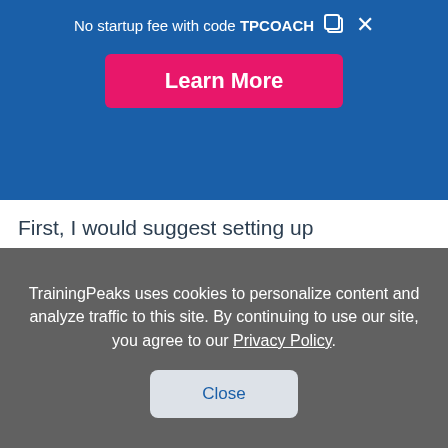No startup fee with code TPCOACH
Learn More
First, I would suggest setting up expectations from the very start of the relationship. Impress upon your new client that you expect to receive their feedback in a timely manner. Explain to them “why” it is important for you to receive this information from them. If you have an existing client that you have these challenges with
TrainingPeaks uses cookies to personalize content and analyze traffic to this site. By continuing to use our site, you agree to our Privacy Policy.
Close